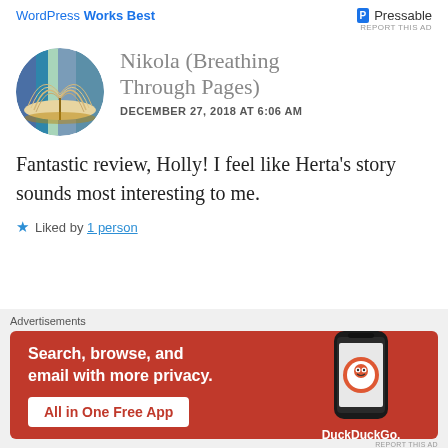WordPress Works Best | Pressable
[Figure (photo): Circular avatar photo of an open book with colorful blurred bookshelves in the background]
Nikola (Breathing Through Pages)
DECEMBER 27, 2018 AT 6:06 AM
Fantastic review, Holly! I feel like Herta’s story sounds most interesting to me.
★ Liked by 1 person
Advertisements
[Figure (screenshot): DuckDuckGo advertisement banner: orange background with white text 'Search, browse, and email with more privacy. All in One Free App' and a phone graphic with DuckDuckGo logo]